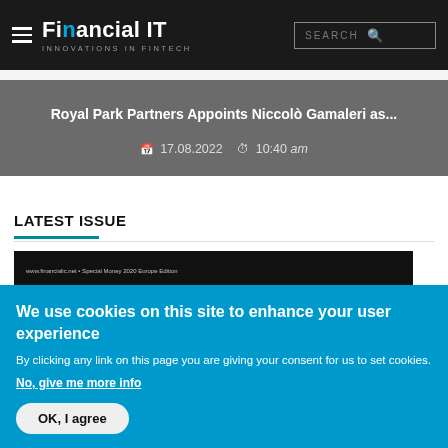Financial IT — Innovations in FinTech
Royal Park Partners Appoints Niccolò Gamaleri as...
17.08.2022  10:40 am
LATEST ISSUE
[Figure (screenshot): Thumbnail preview of Financial IT magazine latest issue cover]
We use cookies on this site to enhance your user experience
By clicking any link on this page you are giving your consent for us to set cookies.
No, give me more info
OK, I agree